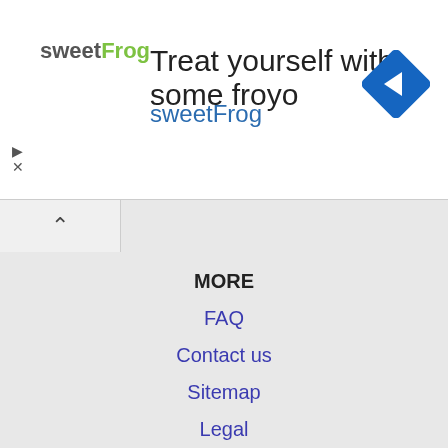[Figure (screenshot): sweetFrog advertisement banner: logo on left, headline 'Treat yourself with some froyo', subtext 'sweetFrog' in blue, navigation arrow icon on right, ad controls (play/close) on bottom left]
MORE
FAQ
Contact us
Sitemap
Legal
Privacy
NEARBY CITIES
Daytona Beach, FL Jobs
Gainesville, FL Jobs
Ocala, FL Jobs
Palm Coast, FL Jobs